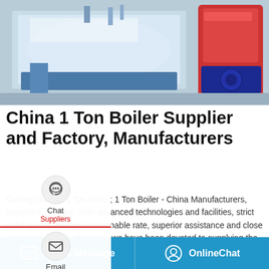[Figure (photo): Industrial boilers — a large white horizontal boiler on the left and a red/blue compact boiler on the right, in a factory/industrial setting]
China 1 Ton Boiler Supplier and Factory, Manufacturers
Getting started; 1 Ton Boiler; 1 Ton Boiler - China Manufacturers, Suppliers, Factory. With advanced technologies and facilities, strict good quality manage, reasonable rate, superior assistance and close co-operation with shoppers, we have been devoted to supplying the very best price for our consumers for 1 Ton Boiler, Boiler Gas Fired, Condensing Gas Boiler, 15 T/H …
[Figure (screenshot): Save Stickers on WhatsApp promotional banner with WhatsApp and emoji icons]
Leave Message   OnlineChat